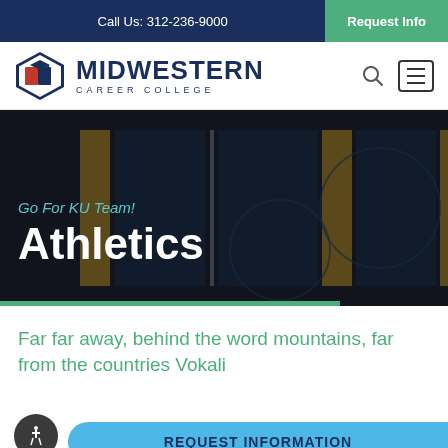Call Us: 312-236-9000 | Request Info
[Figure (logo): Midwestern Career College logo with graduation cap book icon and text MIDWESTERN CAREER COLLEGE]
[Figure (photo): Hero image of basketball court with yellow and dark blue wall panels, darkened overlay with text 'Go For KU Team!' and 'Athletics' and green accent bar]
Far far away, behind the word mountains, far from the countries Vokalia
REQUEST INFORMATION